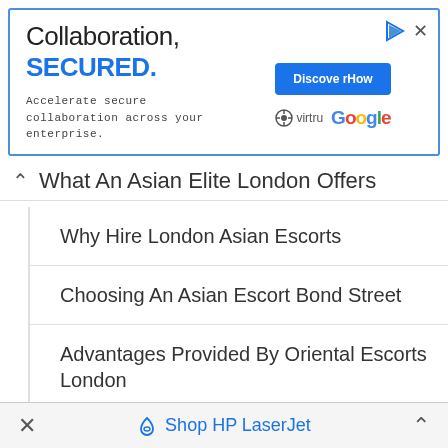[Figure (screenshot): Advertisement banner for Virtru and Google: 'Collaboration, SECURED. Accelerate secure collaboration across your enterprise.' with a blue 'Discover How' button and Virtru/Google logos.]
What An Asian Elite London Offers
Why Hire London Asian Escorts
Choosing An Asian Escort Bond Street
Advantages Provided By Oriental Escorts London
Top Reasons To Meet Asian Escorts Bond Street
The Right Time To Meet Oriental Escorts London
× Shop HP LaserJet ∧